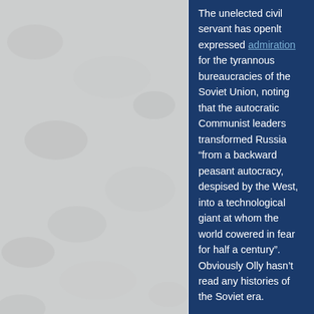[Figure (photo): Light grey textured background with embossed/raised pattern, occupying the left portion of the page]
The unelected civil servant has openlt expressed admiration for the tyrannous bureaucracies of the Soviet Union, noting that the autocratic Communist leaders transformed Russia “from a backward peasant autocracy, despised by the West, into a technological giant at whom the world cowered in fear for half a century”. Obviously Olly hasn’t read any histories of the Soviet era.